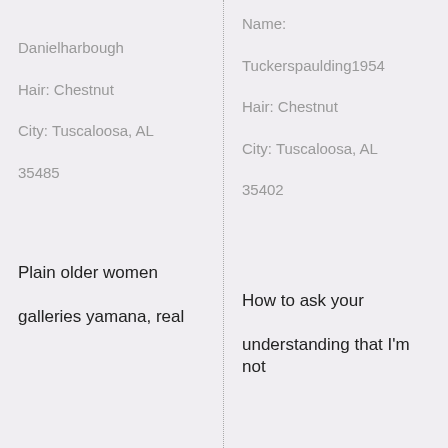Danielharbough
Hair: Chestnut
City: Tuscaloosa, AL
35485
Plain older women
galleries yamana, real
Name:
Tuckerspaulding1954
Hair: Chestnut
City: Tuscaloosa, AL
35402
How to ask your
understanding that I'm not